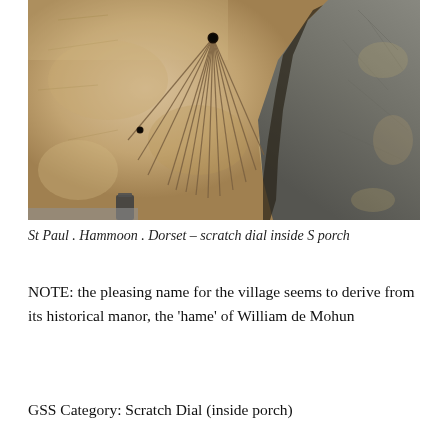[Figure (photo): Close-up photograph of a scratch dial (mass dial) carved into stone, visible inside the south porch of St Paul's church, Hammoon, Dorset. The carved lines radiate from a central hole in the sandy-coloured limestone. A darker stone block is visible to the right.]
St Paul . Hammoon . Dorset – scratch dial inside S porch
NOTE: the pleasing name for the village seems to derive from its historical manor, the 'hame' of William de Mohun
GSS Category: Scratch Dial (inside porch)